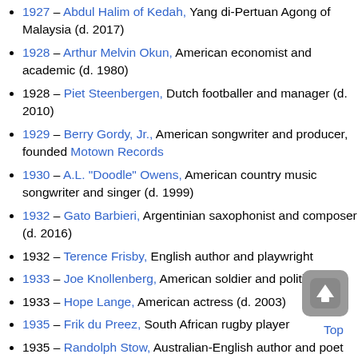1927 – Abdul Halim of Kedah, Yang di-Pertuan Agong of Malaysia (d. 2017)
1928 – Arthur Melvin Okun, American economist and academic (d. 1980)
1928 – Piet Steenbergen, Dutch footballer and manager (d. 2010)
1929 – Berry Gordy, Jr., American songwriter and producer, founded Motown Records
1930 – A.L. "Doodle" Owens, American country music songwriter and singer (d. 1999)
1932 – Gato Barbieri, Argentinian saxophonist and composer (d. 2016)
1932 – Terence Frisby, English author and playwright
1933 – Joe Knollenberg, American soldier and politician
1933 – Hope Lange, American actress (d. 2003)
1935 – Frik du Preez, South African rugby player
1935 – Randolph Stow, Australian-English author and poet (d. 2010)
1936 – Gary Hart, American lawyer and politician, 6th...